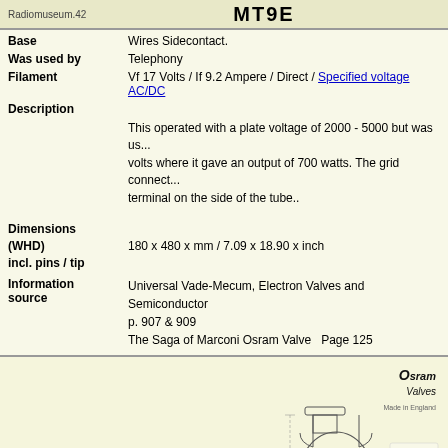MT9E
| Base | Wires Sidecontact. |
| Was used by | Telephony |
| Filament | Vf 17 Volts / If 9.2 Ampere / Direct / Specified voltage AC/DC |
| Description | This operated with a plate voltage of 2000 - 5000 but was us... volts where it gave an output of 700 watts. The grid connect... terminal on the side of the tube.. |
| Dimensions (WHD) incl. pins / tip | 180 x 480 x mm / 7.09 x 18.90 x inch |
| Information source | Universal Vade-Mecum, Electron Valves and Semiconductor p. 907 & 909
The Saga of Marconi Osram Valve   Page 125 |
[Figure (engineering-diagram): Osram Valves logo and technical diagram of MT9E electron valve tube with cross-section drawing and specifications text]